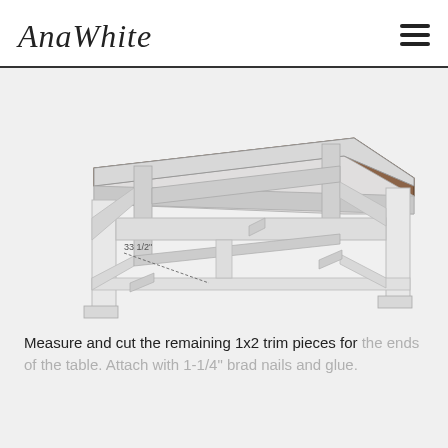AnaWhite
[Figure (illustration): Technical sketch/3D illustration of a farmhouse-style table with white legs and stretchers, brown wood trim on top surface, with a dimension callout reading '33 1/2"']
Measure and cut the remaining 1x2 trim pieces for the ends of the table. Attach with 1-1/4" brad nails and glue.